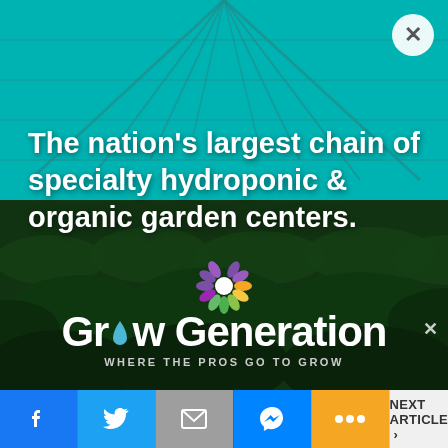[Figure (photo): Advertisement for GrowGeneration showing a large greenhouse/hydroponic farm with rows of green plants under a teal-tinted glass structure. White bold text overlay reads 'The nation's largest chain of specialty hydroponic & organic garden centers.' with the GrowGeneration logo and tagline 'WHERE THE PROS GO TO GROW' at the bottom.]
The nation's largest chain of specialty hydroponic & organic garden centers.
GrowGeneration WHERE THE PROS GO TO GROW
NEXT ARTICLE >